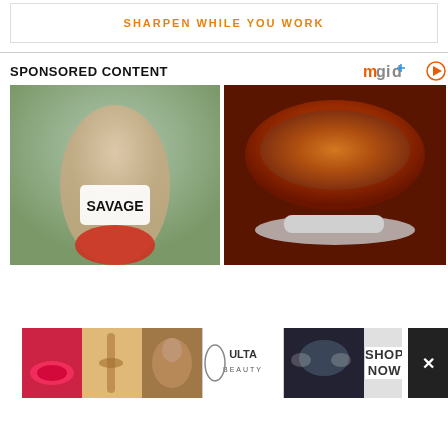SHARPEN WHILE YOU WORK
SPONSORED CONTENT
[Figure (photo): Woman in white crop top labeled SAVAGE posing outdoors]
[Figure (photo): Close-up of orange spice powder in a white bowl with a spoon]
[Figure (photo): Ulta Beauty advertisement banner with makeup images and SHOP NOW button]